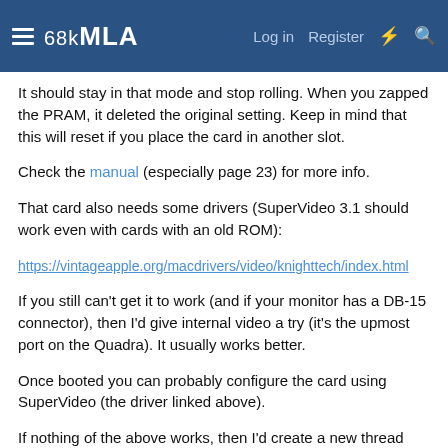68kMLA  Log in  Register
It should stay in that mode and stop rolling. When you zapped the PRAM, it deleted the original setting. Keep in mind that this will reset if you place the card in another slot.
Check the manual (especially page 23) for more info.
That card also needs some drivers (SuperVideo 3.1 should work even with cards with an old ROM):
https://vintageapple.org/macdrivers/video/knighttech/index.html
If you still can't get it to work (and if your monitor has a DB-15 connector), then I'd give internal video a try (it's the upmost port on the Quadra). It usually works better.
Once booted you can probably configure the card using SuperVideo (the driver linked above).
If nothing of the above works, then I'd create a new thread about